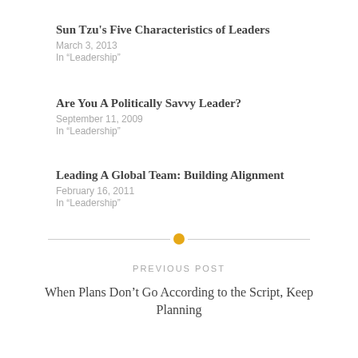Sun Tzu's Five Characteristics of Leaders
March 3, 2013
In "Leadership"
Are You A Politically Savvy Leader?
September 11, 2009
In "Leadership"
Leading A Global Team: Building Alignment
February 16, 2011
In "Leadership"
[Figure (other): Horizontal divider with orange circle in center]
PREVIOUS POST
When Plans Don't Go According to the Script, Keep Planning